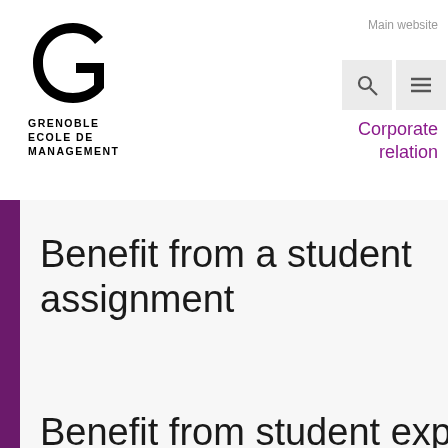[Figure (logo): Grenoble Ecole de Management logo with large G letter mark and text below]
Main website
Corporate relation
Benefit from a student assignment
Benefit from student expertise